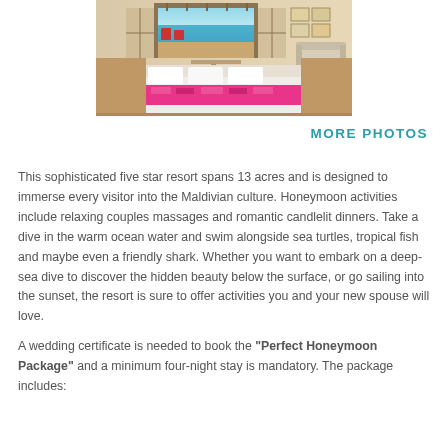[Figure (photo): Interior of a luxury overwater villa with open doors revealing a turquoise ocean view, a bed with pink patterned runner, and a sofa]
MORE PHOTOS
This sophisticated five star resort spans 13 acres and is designed to immerse every visitor into the Maldivian culture. Honeymoon activities include relaxing couples massages and romantic candlelit dinners. Take a dive in the warm ocean water and swim alongside sea turtles, tropical fish and maybe even a friendly shark. Whether you want to embark on a deep-sea dive to discover the hidden beauty below the surface, or go sailing into the sunset, the resort is sure to offer activities you and your new spouse will love.
A wedding certificate is needed to book the "Perfect Honeymoon Package" and a minimum four-night stay is mandatory. The package includes: